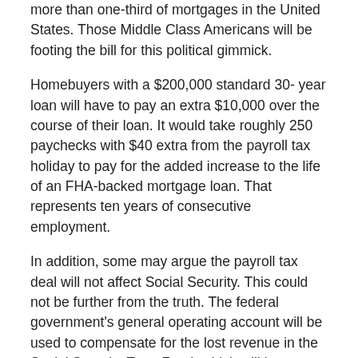more than one-third of mortgages in the United States. Those Middle Class Americans will be footing the bill for this political gimmick.
Homebuyers with a $200,000 standard 30- year loan will have to pay an extra $10,000 over the course of their loan. It would take roughly 250 paychecks with $40 extra from the payroll tax holiday to pay for the added increase to the life of an FHA-backed mortgage loan. That represents ten years of consecutive employment.
In addition, some may argue the payroll tax deal will not affect Social Security. This could not be further from the truth. The federal government's general operating account will be used to compensate for the lost revenue in the Social Security Trust Fund, which will increase the deficit and add to the nation's debt.